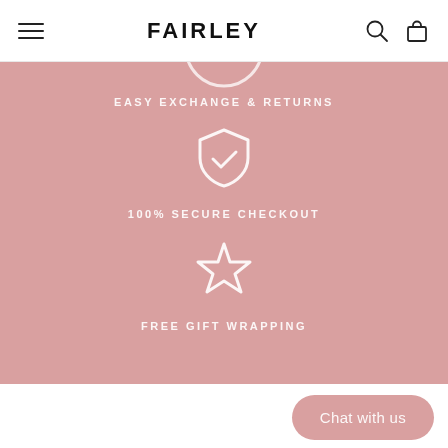FAIRLEY
EASY EXCHANGE & RETURNS
[Figure (illustration): White shield icon with checkmark on pink background]
100% SECURE CHECKOUT
[Figure (illustration): White star outline icon on pink background]
FREE GIFT WRAPPING
Chat with us